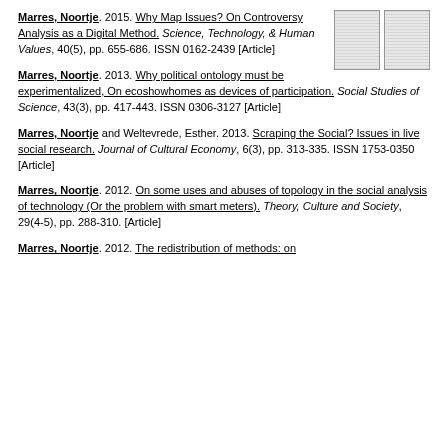Marres, Noortje. 2015. Why Map Issues? On Controversy Analysis as a Digital Method. Science, Technology, & Human Values, 40(5), pp. 655-686. ISSN 0162-2439 [Article]
Marres, Noortje. 2013. Why political ontology must be experimentalized, On ecoshowhomes as devices of participation. Social Studies of Science, 43(3), pp. 417-443. ISSN 0306-3127 [Article]
Marres, Noortje and Weltevrede, Esther. 2013. Scraping the Social? Issues in live social research. Journal of Cultural Economy, 6(3), pp. 313-335. ISSN 1753-0350 [Article]
Marres, Noortje. 2012. On some uses and abuses of topology in the social analysis of technology (Or the problem with smart meters). Theory, Culture and Society, 29(4-5), pp. 288-310. [Article]
Marres, Noortje. 2012. The redistribution of methods: on